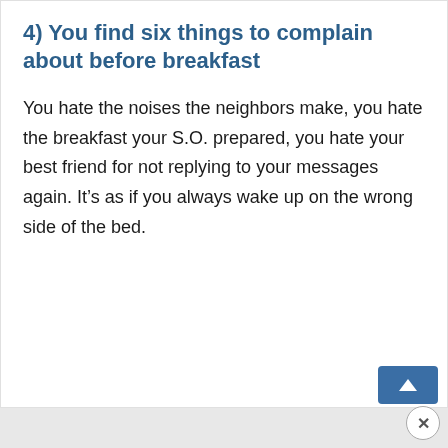4) You find six things to complain about before breakfast
You hate the noises the neighbors make, you hate the breakfast your S.O. prepared, you hate your best friend for not replying to your messages again. It’s as if you always wake up on the wrong side of the bed.